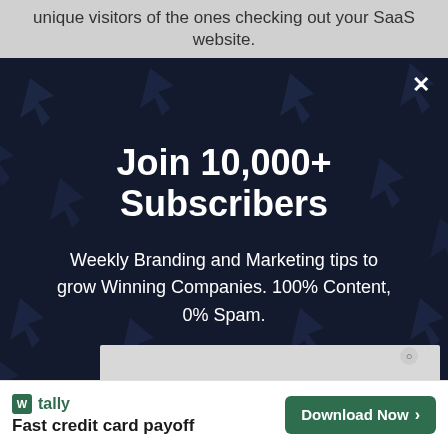unique visitors of the ones checking out your SaaS website.
[Figure (screenshot): Modal popup with dark navy background covered in cursor/arrow icons, showing newsletter signup call to action with white X close button]
Join 10,000+ Subscribers
Weekly Branding and Marketing tips to grow Winning Companies. 100% Content, 0% Spam.
[Figure (screenshot): Advertisement banner for Tally app - Fast credit card payoff with Download Now button]